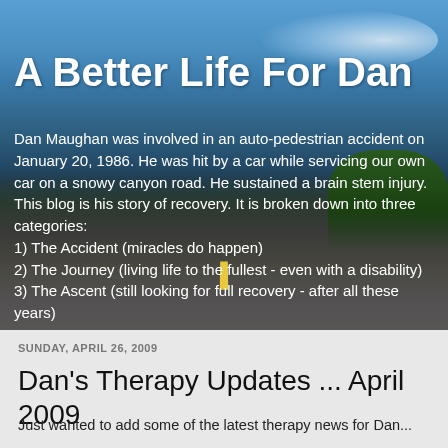A Better Life For Dan
Dan Maughan was involved in an auto-pedestrian accident on January 20, 1986. He was hit by a car while servicing our own car on a snowy canyon road. He sustained a brain stem injury. This blog is his story of recovery. It is broken down into three categories:
1) The Accident (miracles do happen)
2) The Journey (living life to the fullest - even with a disability)
3) The Ascent (still looking for full recovery - after all these years)
SUNDAY, APRIL 26, 2009
Dan's Therapy Updates ... April 2009
Just wanted to add some of the latest therapy news for Dan...